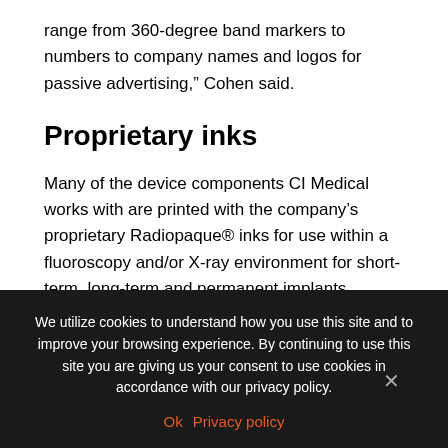range from 360-degree band markers to numbers to company names and logos for passive advertising,” Cohen said.
Proprietary inks
Many of the device components CI Medical works with are printed with the company’s proprietary Radiopaque® inks for use within a fluoroscopy and/or X-ray environment for short-term, long-term and permanent implants.
CI Medical developed its own Radiopaque® ink lines and its related transfer pad printing techniques over a number of
We utilize cookies to understand how you use this site and to improve your browsing experience. By continuing to use this site you are giving us your consent to use cookies in accordance with our privacy policy.
Ok   Privacy policy